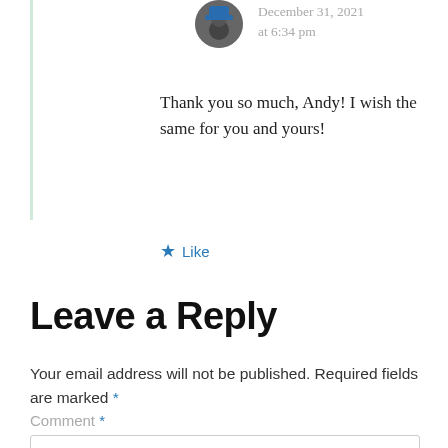December 31, 2021 at 6:34 pm
Thank you so much, Andy! I wish the same for you and yours!
★ Like
Leave a Reply
Your email address will not be published. Required fields are marked *
Comment *